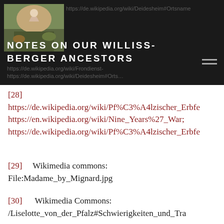NOTES ON OUR WILLISS-BERGER ANCESTORS
[28] https://de.wikipedia.org/wiki/Pf%C3%A4lzischer_Erbfe https://en.wikipedia.org/wiki/Nine_Years%27_War; https://de.wikipedia.org/wiki/Pf%C3%A4lzischer_Erbfe
[29]      Wikimedia commons: File:Madame_by_Mignard.jpg
[30]       Wikimedia Commons: /Liselotte_von_der_Pfalz#Schwierigkeiten_und_Tra